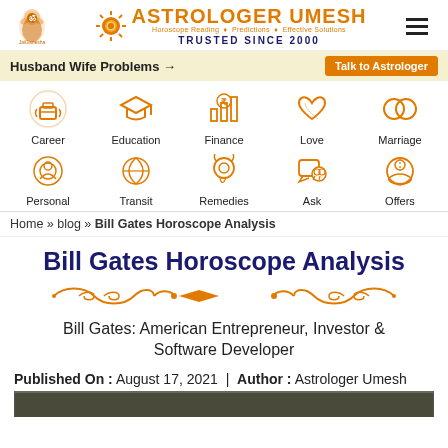ASTROLOGER UMESH — Horoscope Reading • Predictions • Effective Solutions — TRUSTED SINCE 2000
Husband Wife Problems - Talk to Astrologer
[Figure (infographic): Navigation icons row 1: Career, Education, Finance, Love, Marriage]
[Figure (infographic): Navigation icons row 2: Personal, Transit, Remedies, Ask, Offers]
Home » blog » Bill Gates Horoscope Analysis
Bill Gates Horoscope Analysis
[Figure (illustration): Decorative orange ornamental divider]
Bill Gates: American Entrepreneur, Investor & Software Developer
Published On : August 17, 2021  |  Author : Astrologer Umesh
[Figure (photo): Bottom of page: dark image thumbnail beginning to appear]